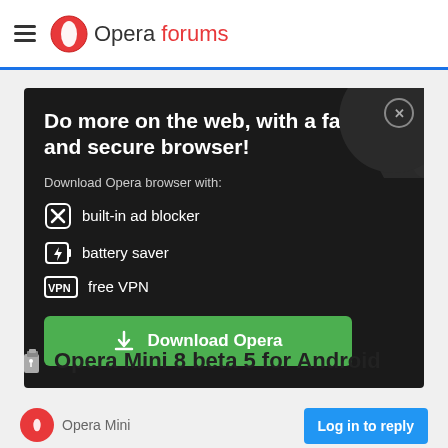Opera forums
[Figure (screenshot): Opera browser advertisement: Do more on the web, with a fast and secure browser! Download Opera browser with: built-in ad blocker, battery saver, free VPN. Download Opera button.]
Opera Mini 8 beta 5 for Android
Opera Mini
Log in to reply